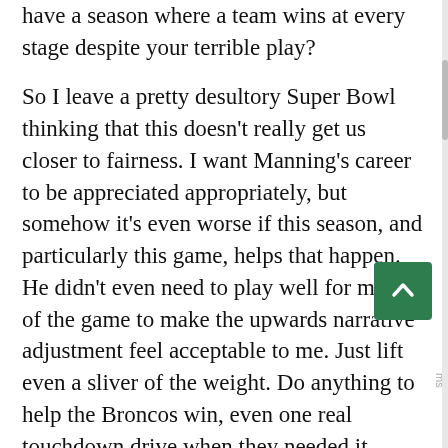have a season where a team wins at every stage despite your terrible play?
So I leave a pretty desultory Super Bowl thinking that this doesn't really get us closer to fairness. I want Manning's career to be appreciated appropriately, but somehow it's even worse if this season, and particularly this game, helps that happen. He didn't even need to play well for most of the game to make the upwards narrative adjustment feel acceptable to me. Just lift even a sliver of the weight. Do anything to help the Broncos win, even one real touchdown drive when they needed it. Instead Manning became the first quarterback to win a Super Bowl without a touchdown drive of more than ten yards. I kind wish we had pulled 54-year old Dan Marino in to play on Sunday. He probably would have won, too, and he deserved a narrative upgrade even more than Manning.